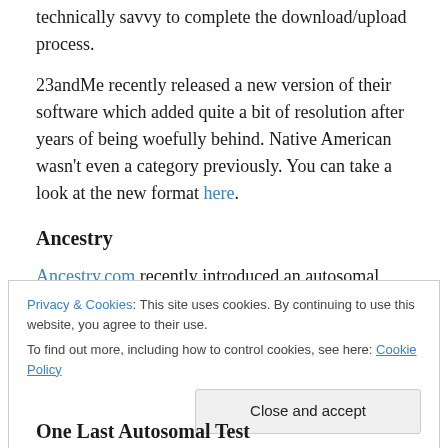technically savvy to complete the download/upload process.
23andMe recently released a new version of their software which added quite a bit of resolution after years of being woefully behind.  Native American wasn't even a category previously.  You can take a look at the new format here.
Ancestry
Ancestry.com recently introduced an autosomal test.  You receive matches and ethnicity percentages.  However,
Privacy & Cookies: This site uses cookies. By continuing to use this website, you agree to their use.
To find out more, including how to control cookies, see here: Cookie Policy
One Last Autosomal Test